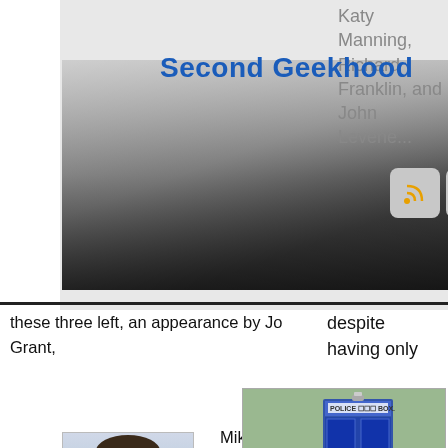Second Geekhood
[Figure (photo): Header banner with group photo of people including older individuals, black and white/faded style]
[Figure (screenshot): Social media icons row: RSS, Google+, Facebook, Twitter]
Katy Manning, Richard Franklin, and John Levene...
despite having only
these three left, an appearance by Jo Grant,
[Figure (photo): Young teenage boy in blue long-sleeve shirt]
Mike Yates, or Benton would still be great. Sadly with the passing of Nicholas
[Figure (photo): Doctor Who scene with TARDIS police box, the Doctor and two companions (John B. Brewer caption)]
Courtney & Elisabeth Sladen, the Brigadier & Sarah Jane are forever lost to